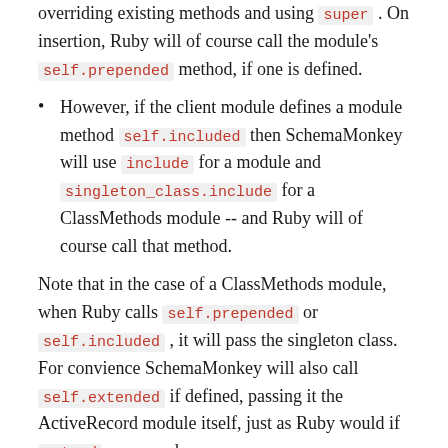overriding existing methods and using super. On insertion, Ruby will of course call the module's self.prepended method, if one is defined.
However, if the client module defines a module method self.included then SchemaMonkey will use include for a module and singleton_class.include for a ClassMethods module -- and Ruby will of course call that method.
Note that in the case of a ClassMethods module, when Ruby calls self.prepended or self.included , it will pass the singleton class. For convience SchemaMonkey will also call self.extended if defined, passing it the ActiveRecord module itself, just as Ruby would if extend were used.
Middleware Modules
SchemaMonkey provides a convention-based front end